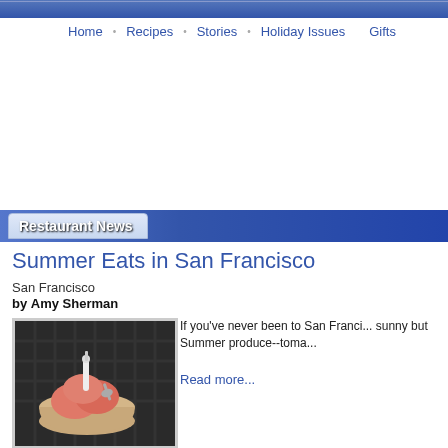Home • Recipes • Stories • Holiday Issues • Gifts
Restaurant News
Summer Eats in San Francisco
San Francisco
by Amy Sherman
[Figure (photo): Bowl of pink/salmon colored ice cream or sorbet with a white squeeze bottle and a grey spoon on a dark wicker surface]
If you've never been to San Franci... sunny but Summer produce--toma...
Read more...